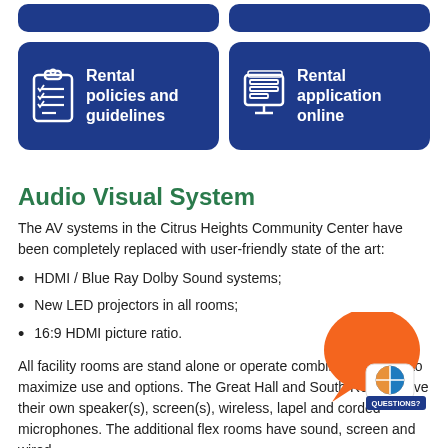[Figure (infographic): Two cropped dark blue rounded rectangle buttons at the very top of the page (partially visible)]
[Figure (infographic): Two dark blue rounded rectangle button cards side by side. Left card shows a checklist icon and text 'Rental policies and guidelines'. Right card shows a document/screen icon and text 'Rental application online'.]
Audio Visual System
The AV systems in the Citrus Heights Community Center have been completely replaced with user-friendly state of the art:
HDMI / Blue Ray Dolby Sound systems;
New LED projectors in all rooms;
16:9 HDMI picture ratio.
All facility rooms are stand alone or operate combined capacity to maximize use and options. The Great Hall and South Rooms have their own speaker(s), screen(s), wireless, lapel and corded microphones. The additional flex rooms have sound, screen and wired
[Figure (illustration): Orange speech bubble chat icon with a smaller speech bubble containing a circular logo. Below reads 'QUESTIONS?' in white text on dark blue background.]